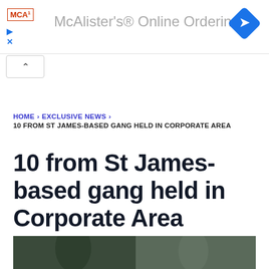[Figure (screenshot): McAlister's Online Ordering advertisement banner with red MCA logo box, play and X icons, gray ad title text, and blue diamond navigation icon on the right]
[Figure (other): Collapse/minimize chevron button below ad banner]
HOME › EXCLUSIVE NEWS › 10 FROM ST JAMES-BASED GANG HELD IN CORPORATE AREA
10 from St James-based gang held in Corporate Area
[Figure (photo): Partial photo at the bottom of the page, appears to show people outdoors]